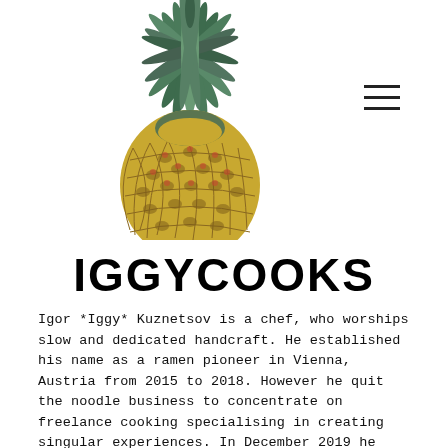[Figure (photo): A pineapple image showing the top leafy crown and the upper portion of the fruit body, cropped at the bottom, on a white background.]
IGGYCOOKS
Igor *Iggy* Kuznetsov is a chef, who worships slow and dedicated handcraft. He established his name as a ramen pioneer in Vienna, Austria from 2015 to 2018. However he quit the noodle business to concentrate on freelance cooking specialising in creating singular experiences. In December 2019 he opens